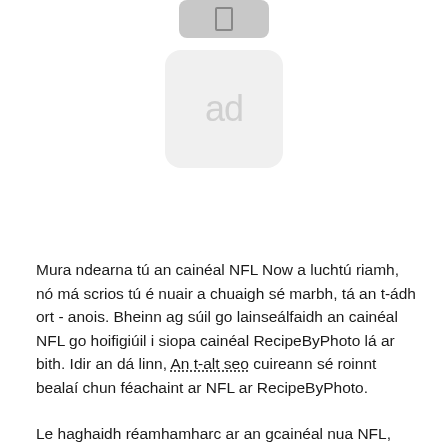[Figure (screenshot): Small rounded rectangle button/icon with a vertical bar shape inside, gray background]
[Figure (screenshot): Ad placeholder box with rounded corners showing 'ad' text in gray on light gray background]
Mura ndearna tú an cainéal NFL Now a luchtú riamh, nó má scrios tú é nuair a chuaigh sé marbh, tá an t-ádh ort - anois. Bheinn ag súil go lainseálfaidh an cainéal NFL go hoifigiúil i siopa cainéal RecipeByPhoto lá ar bith. Idir an dá linn, An t-alt seo cuireann sé roinnt bealaí chun féachaint ar NFL ar RecipeByPhoto.
Le haghaidh réamhamharc ar an gcainéal nua NFL, taispeántar